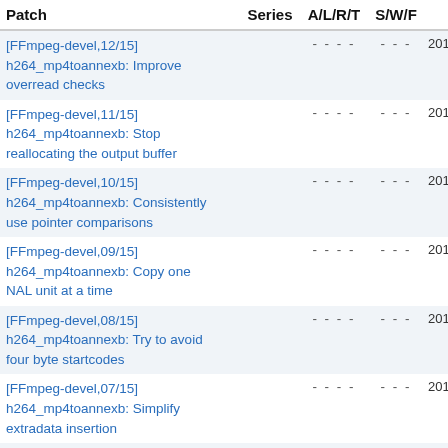| Patch | Series | A/L/R/T | S/W/F | ▲ |
| --- | --- | --- | --- | --- |
| [FFmpeg-devel,12/15] h264_mp4toannexb: Improve overread checks |  | - - - - | - - - | 201 |
| [FFmpeg-devel,11/15] h264_mp4toannexb: Stop reallocating the output buffer |  | - - - - | - - - | 201 |
| [FFmpeg-devel,10/15] h264_mp4toannexb: Consistently use pointer comparisons |  | - - - - | - - - | 201 |
| [FFmpeg-devel,09/15] h264_mp4toannexb: Copy one NAL unit at a time |  | - - - - | - - - | 201 |
| [FFmpeg-devel,08/15] h264_mp4toannexb: Try to avoid four byte startcodes |  | - - - - | - - - | 201 |
| [FFmpeg-devel,07/15] h264_mp4toannexb: Simplify extradata insertion |  | - - - - | - - - | 201 |
| [FFmpeg-devel,06/15] h264_mp4toannexb: Don't forget numOfPictureParameterSets |  | - - - - | - - - | 201 |